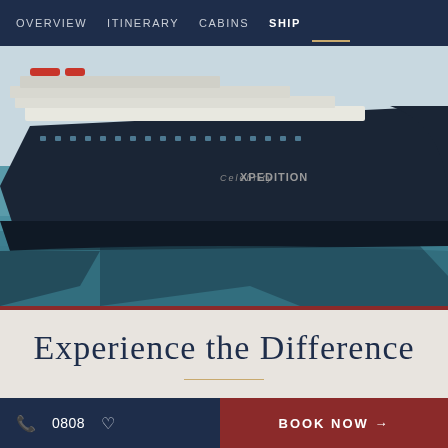OVERVIEW  ITINERARY  CABINS  SHIP
Loading Live Prices...  From £7,648pp
[Figure (photo): Large cruise ship named Celebrity Xpedition docked in calm blue-green water, showing the dark navy hull and white upper decks against a pale sky.]
Experience the Difference
📞 0808  ♡   BOOK NOW →